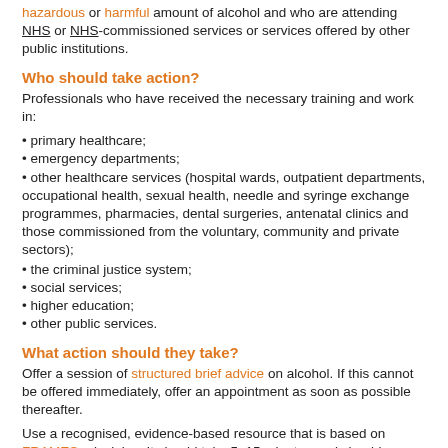hazardous or harmful amount of alcohol and who are attending NHS or NHS-commissioned services or services offered by other public institutions.
Who should take action?
Professionals who have received the necessary training and work in:
primary healthcare;
emergency departments;
other healthcare services (hospital wards, outpatient departments, occupational health, sexual health, needle and syringe exchange programmes, pharmacies, dental surgeries, antenatal clinics and those commissioned from the voluntary, community and private sectors);
the criminal justice system;
social services;
higher education;
other public services.
What action should they take?
Offer a session of structured brief advice on alcohol. If this cannot be offered immediately, offer an appointment as soon as possible thereafter.
Use a recognised, evidence-based resource that is based on FRAMES principles. It should take 5–15 minutes and should:
cover the potential harm caused by their level of drinking and reasons for changing the behaviour, including the health and wellbeing benefits;
cover the barriers to change;